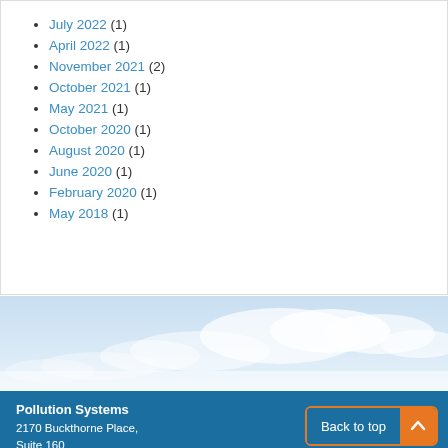July 2022 (1)
April 2022 (1)
November 2021 (2)
October 2021 (1)
May 2021 (1)
October 2020 (1)
August 2020 (1)
June 2020 (1)
February 2020 (1)
May 2018 (1)
[Figure (photo): Sky with clouds, blue gradient background banner]
Pollution Systems
2170 Buckthorne Place, Suite 160
The Woodlands, TX 77380
Email: